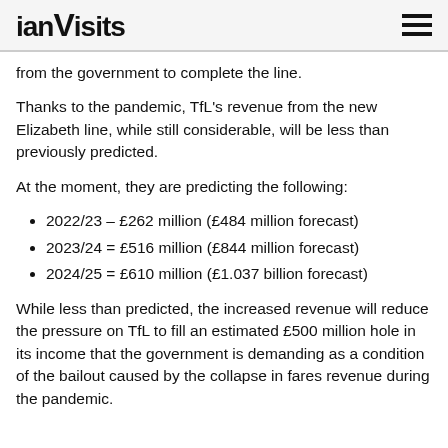ianVisits
from the government to complete the line.
Thanks to the pandemic, TfL's revenue from the new Elizabeth line, while still considerable, will be less than previously predicted.
At the moment, they are predicting the following:
2022/23 – £262 million (£484 million forecast)
2023/24 = £516 million (£844 million forecast)
2024/25 = £610 million (£1.037 billion forecast)
While less than predicted, the increased revenue will reduce the pressure on TfL to fill an estimated £500 million hole in its income that the government is demanding as a condition of the bailout caused by the collapse in fares revenue during the pandemic.